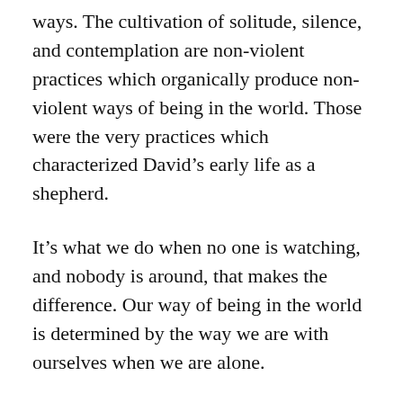ways. The cultivation of solitude, silence, and contemplation are non-violent practices which organically produce non-violent ways of being in the world. Those were the very practices which characterized David's early life as a shepherd.
It's what we do when no one is watching, and nobody is around, that makes the difference. Our way of being in the world is determined by the way we are with ourselves when we are alone.
How you are, matters.